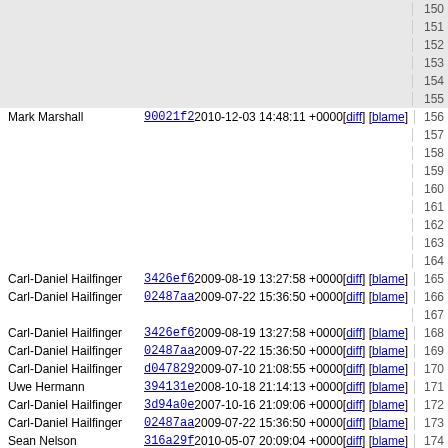| Author | Commit | Date | Links | Line |
| --- | --- | --- | --- | --- |
|  |  |  |  | 150 |
|  |  |  |  | 151 |
|  |  |  |  | 152 |
|  |  |  |  | 153 |
|  |  |  |  | 154 |
|  |  |  |  | 155 |
| Mark Marshall | 90021f2 | 2010-12-03 14:48:11 +0000 | [diff] [blame] | 156 |
|  |  |  |  | 157 |
|  |  |  |  | 158 |
|  |  |  |  | 159 |
|  |  |  |  | 160 |
|  |  |  |  | 161 |
|  |  |  |  | 162 |
|  |  |  |  | 163 |
|  |  |  |  | 164 |
| Carl-Daniel Hailfinger | 3426ef6 | 2009-08-19 13:27:58 +0000 | [diff] [blame] | 165 |
| Carl-Daniel Hailfinger | 02487aa | 2009-07-22 15:36:50 +0000 | [diff] [blame] | 166 |
|  |  |  |  | 167 |
| Carl-Daniel Hailfinger | 3426ef6 | 2009-08-19 13:27:58 +0000 | [diff] [blame] | 168 |
| Carl-Daniel Hailfinger | 02487aa | 2009-07-22 15:36:50 +0000 | [diff] [blame] | 169 |
| Carl-Daniel Hailfinger | d047829 | 2009-07-10 21:08:55 +0000 | [diff] [blame] | 170 |
| Uwe Hermann | 394131e | 2008-10-18 21:14:13 +0000 | [diff] [blame] | 171 |
| Carl-Daniel Hailfinger | 3d94a0e | 2007-10-16 21:09:06 +0000 | [diff] [blame] | 172 |
| Carl-Daniel Hailfinger | 02487aa | 2009-07-22 15:36:50 +0000 | [diff] [blame] | 173 |
| Sean Nelson | 316a29f | 2010-05-07 20:09:04 +0000 | [diff] [blame] | 174 |
| Carl-Daniel Hailfinger | 8ae500e | 2010-06-20 10:39:33 +0000 | [diff] [blame] | 175 |
|  |  |  |  | 176 |